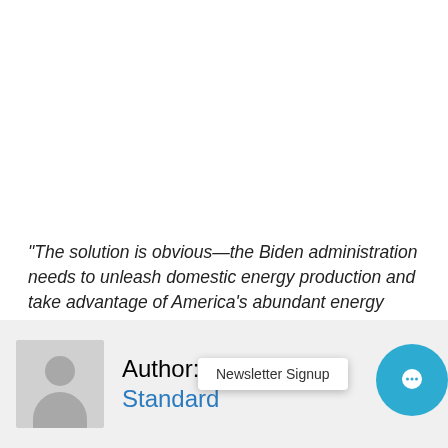“The solution is obvious—the Biden administration needs to unleash domestic energy production and take advantage of America's abundant energy resources. That will put downward pressure on prices both in the short and long term. Instead of an election-year gimmick, Biden should show leadership and work with Congress to allow more domestic production and unleash our energy sector's capacity to explore, drill, refine, and transport.”
Author: The Iowa Standard